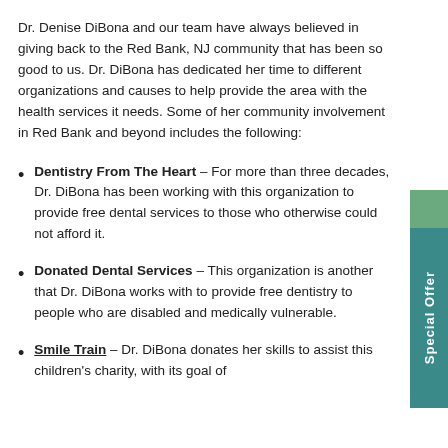Dr. Denise DiBona and our team have always believed in giving back to the Red Bank, NJ community that has been so good to us. Dr. DiBona has dedicated her time to different organizations and causes to help provide the area with the health services it needs. Some of her community involvement in Red Bank and beyond includes the following:
Dentistry From The Heart – For more than three decades, Dr. DiBona has been working with this organization to provide free dental services to those who otherwise could not afford it.
Donated Dental Services – This organization is another that Dr. DiBona works with to provide free dentistry to people who are disabled and medically vulnerable.
Smile Train – Dr. DiBona donates her skills to assist this children's charity, with its goal of